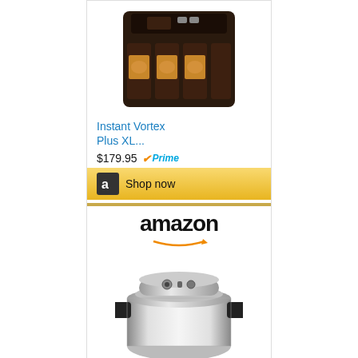[Figure (photo): Air fryer product image - Instant Vortex Plus XL with multiple compartments, dark finish]
Instant Vortex Plus XL...
$179.95 Prime
[Figure (logo): Amazon 'a' logo button with Shop now text on gold background]
[Figure (logo): Amazon wordmark with orange arrow]
[Figure (photo): Presto 01781 23-Quart pressure cooker, aluminum, side handles]
Presto 01781 23-Quart...
$156.47
[Figure (logo): Amazon 'a' logo button with Shop now text on gold background]